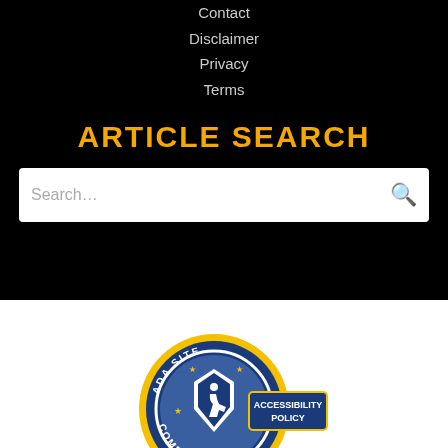Contact
Disclaimer
Privacy
Terms
ARTICLE SEARCH
[Figure (screenshot): Search bar with placeholder text 'Search...' and a magnifying glass icon on the right]
[Figure (logo): ADA Site Compliance badge with blue circular seal showing an eagle and accessibility icon, with 'ACCESSIBILITY POLICY' banner in blue and gold]